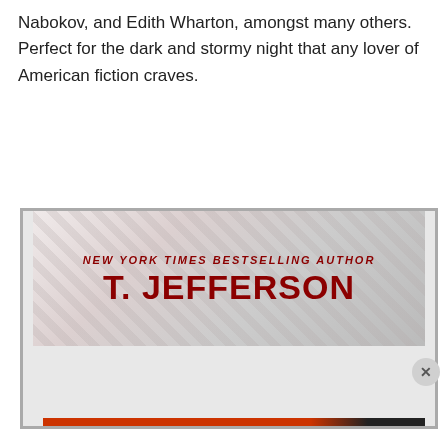Nabokov, and Edith Wharton, amongst many others. Perfect for the dark and stormy night that any lover of American fiction craves.
[Figure (illustration): Book advertisement banner showing 'NEW YORK TIMES BESTSELLING AUTHOR T. JEFFERSON' in dark red bold text on a light background with diagonal line pattern]
Privacy & Cookies: This site uses cookies. By continuing to use this website, you agree to their use.
To find out more, including how to control cookies, see here: Cookie Policy
Close and accept